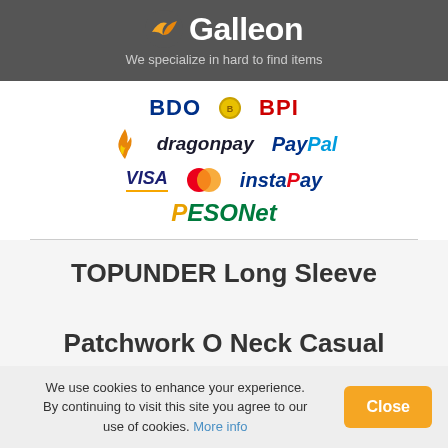Galleon - We specialize in hard to find items
[Figure (logo): Payment method logos: BDO, BPI, dragonpay, PayPal, VISA, MasterCard, InstaPay, PESONet]
TOPUNDER Long Sleeve Patchwork O Neck Casual
We use cookies to enhance your experience. By continuing to visit this site you agree to our use of cookies. More info